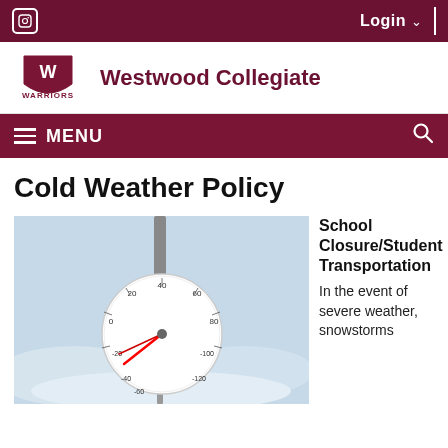Instagram icon | Login ▾ |
[Figure (logo): Westwood Collegiate Warriors logo — shield with W and text WARRIORS]
Westwood Collegiate
≡ MENU  🔍
Cold Weather Policy
[Figure (photo): Outdoor thermometer covered in snow showing temperature around -20 to -30 degrees Celsius, set against a blurred snowy background]
School Closure/Student Transportation
In the event of severe weather, snowstorms